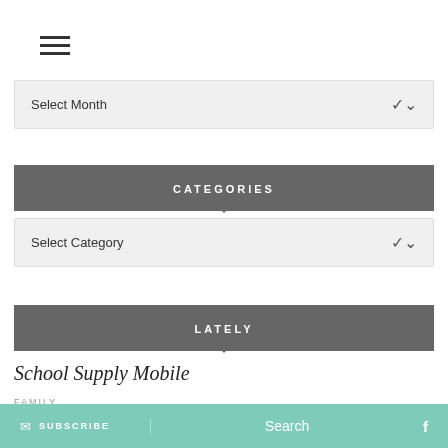[Figure (screenshot): Hamburger menu icon (three horizontal lines)]
Select Month
CATEGORIES
Select Category
LATELY
School Supply Mobile
FAMILY
SUBSCRIBE   Search   f